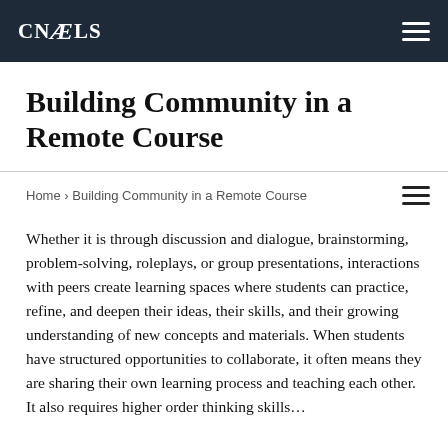CNALS
Building Community in a Remote Course
Home › Building Community in a Remote Course
Whether it is through discussion and dialogue, brainstorming, problem-solving, roleplays, or group presentations, interactions with peers create learning spaces where students can practice, refine, and deepen their ideas, their skills, and their growing understanding of new concepts and materials. When students have structured opportunities to collaborate, it often means they are sharing their own learning process and teaching each other. It also requires higher order thinking skills…